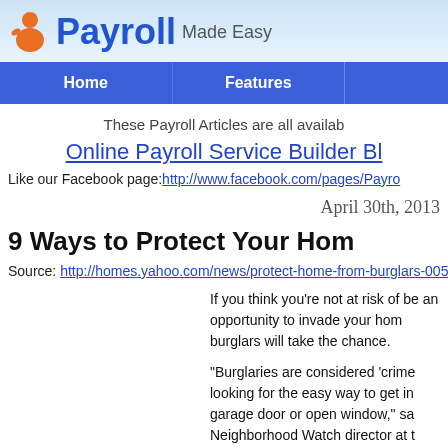Payroll Made Easy
Home | Features
These Payroll Articles are all availab
Online Payroll Service Builder Bl
Like our Facebook page: http://www.facebook.com/pages/Payro
April 30th, 2013
9 Ways to Protect Your Hom
Source: http://homes.yahoo.com/news/protect-home-from-burglars-005
If you think you're not at risk of be an opportunity to invade your hom burglars will take the chance.

"Burglaries are considered 'crime looking for the easy way to get in garage door or open window," sa Neighborhood Watch director at t